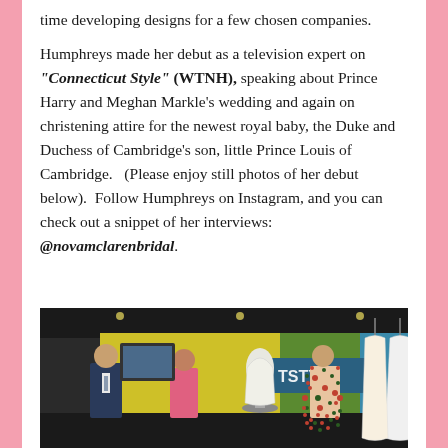time developing designs for a few chosen companies.

Humphreys made her debut as a television expert on "Connecticut Style" (WTNH), speaking about Prince Harry and Meghan Markle's wedding and again on christening attire for the newest royal baby, the Duke and Duchess of Cambridge's son, little Prince Louis of Cambridge.   (Please enjoy still photos of her debut below).  Follow Humphreys on Instagram, and you can check out a snippet of her interviews: @novamclarenbridal.
[Figure (photo): A TV studio scene showing a man in a suit and two women, one in a pink top and one in a floral dress, standing near a dress form with a white gown and hanging dresses, with a 'CT STYLE' banner visible in the background.]